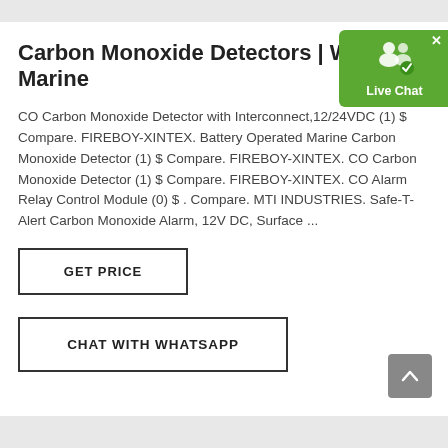Carbon Monoxide Detectors | West Marine
CO Carbon Monoxide Detector with Interconnect,12/24VDC (1) $ Compare. FIREBOY-XINTEX. Battery Operated Marine Carbon Monoxide Detector (1) $ Compare. FIREBOY-XINTEX. CO Carbon Monoxide Detector (1) $ Compare. FIREBOY-XINTEX. CO Alarm Relay Control Module (0) $ . Compare. MTI INDUSTRIES. Safe-T-Alert Carbon Monoxide Alarm, 12V DC, Surface ...
[Figure (screenshot): Live Chat widget button with user icon and green background]
GET PRICE
CHAT WITH WHATSAPP
[Figure (other): Scroll-to-top button with upward arrow, grey background]